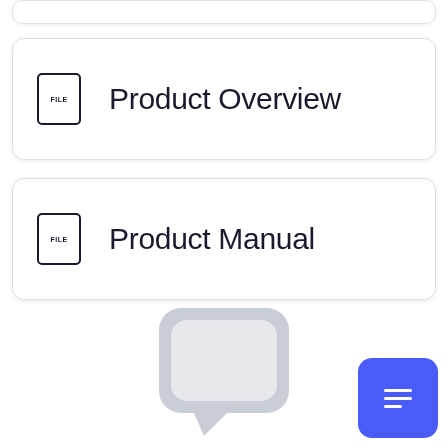Product Overview
Product Manual
[Figure (illustration): Large gray speech bubble / chat icon centered at bottom of page]
[Figure (illustration): Blue rounded square chat button with message lines icon, bottom right corner]